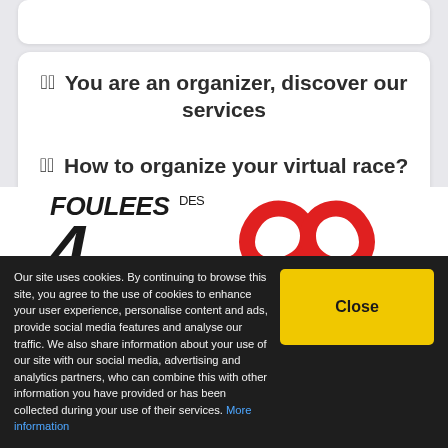You are an organizer, discover our services
How to organize your virtual race?
[Figure (logo): FOULEES des 4 logo with large red infinity/pretzel symbol]
Our site uses cookies. By continuing to browse this site, you agree to the use of cookies to enhance your user experience, personalise content and ads, provide social media features and analyse our traffic. We also share information about your use of our site with our social media, advertising and analytics partners, who can combine this with other information you have provided or has been collected during your use of their services. More information